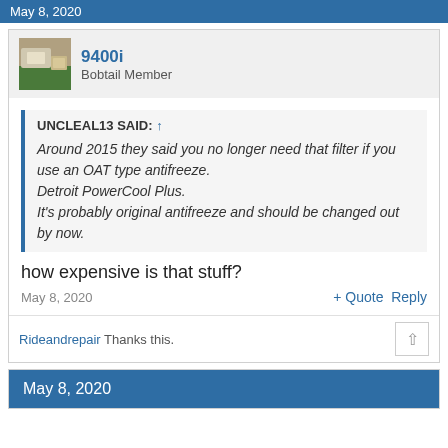May 8, 2020
9400i
Bobtail Member
UNCLEAL13 SAID: ↑
Around 2015 they said you no longer need that filter if you use an OAT type antifreeze.
Detroit PowerCool Plus.
It's probably original antifreeze and should be changed out by now.
how expensive is that stuff?
May 8, 2020
+ Quote  Reply
Rideandrepair Thanks this.
May 8, 2020